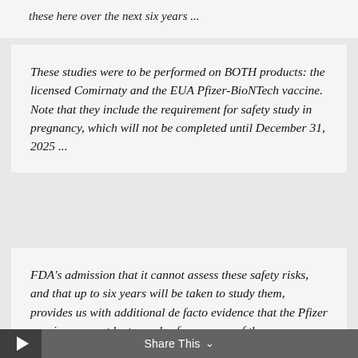these here over the next six years ...
These studies were to be performed on BOTH products: the licensed Comirnaty and the EUA Pfizer-BioNTech vaccine. Note that they include the requirement for safety study in pregnancy, which will not be completed until December 31, 2025 ...
FDA’s admission that it cannot assess these safety risks, and that up to six years will be taken to study them, provides us with additional de facto evidence that the Pfizer vaccines cannot be termed safe, as many of the fundamental safety studies are only now getting started."